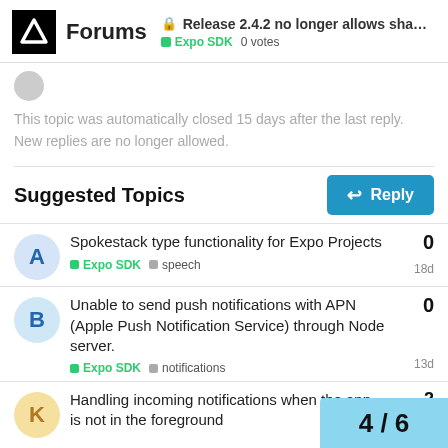Forums — Release 2.4.2 no longer allows sha... — Expo SDK — 0 votes
This topic was automatically closed 15 days after the last reply. New replies are no longer allowed.
Suggested Topics
Spokestack type functionality for Expo Projects — Expo SDK — speech — 18d — 0 votes
Unable to send push notifications with APN (Apple Push Notification Service) through Node server. — Expo SDK — notifications — 13d — 0 votes
Handling incoming notifications when the app is not in the foreground...
4 / 6